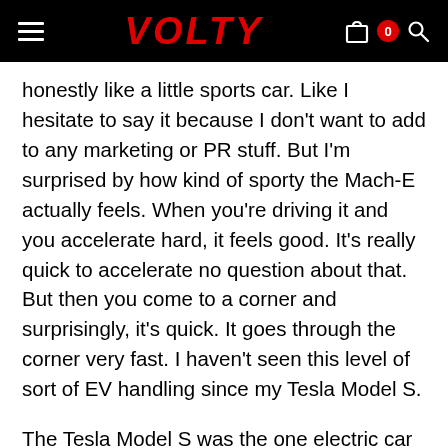VOLTY
honestly like a little sports car. Like I hesitate to say it because I don't want to add to any marketing or PR stuff. But I'm surprised by how kind of sporty the Mach-E actually feels. When you're driving it and you accelerate hard, it feels good. It's really quick to accelerate no question about that. But then you come to a corner and surprisingly, it's quick. It goes through the corner very fast. I haven't seen this level of sort of EV handling since my Tesla Model S.
The Tesla Model S was the one electric car that proved to me that electric cars don't have to suck. And that car handles well, no matter whether you like it or not, it's it clearly does. This is kind of on that level, except it almost